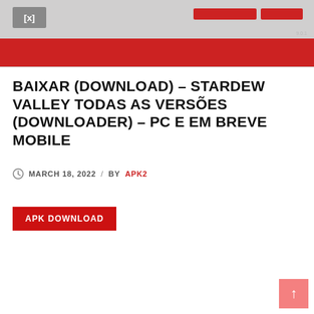[Figure (screenshot): Screenshot of a website header showing a game image (Stardew Valley) with a logo on the top left, navigation on the top right, and a red bar below the image area.]
BAIXAR (DOWNLOAD) – STARDEW VALLEY TODAS AS VERSÕES (DOWNLOADER) – PC E EM BREVE MOBILE
MARCH 18, 2022 / BY APK2
APK DOWNLOAD